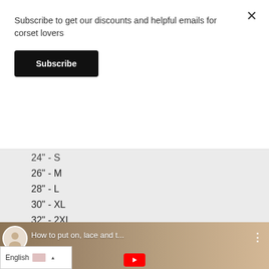Subscribe to get our discounts and helpful emails for corset lovers
Subscribe
24" - S
26" - M
28" - L
30" - XL
32" - 2XL
34" - 3XL
36" - 4XL
38" - 5XL
[Figure (screenshot): YouTube video thumbnail showing a woman putting on a corset, with title 'How to put on, lace and t...']
English